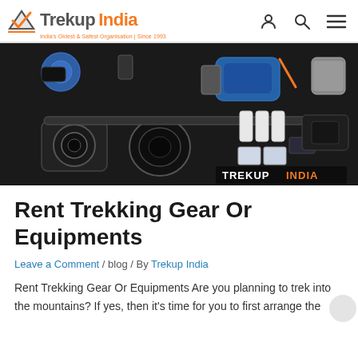TrekupIndia — India's Oldest & Safest Organisation | Since 1993
[Figure (photo): Flat lay of trekking and photography gear on a dark surface including cameras, lenses, batteries, bags, and accessories, with TREKUP INDIA watermark in bottom right]
Rent Trekking Gear Or Equipments
Leave a Comment / blog / By Trekup India
Rent Trekking Gear Or Equipments Are you planning to trek into the mountains? If yes, then it's time for you to first arrange the right hiking equipment and accessories to ensure a...